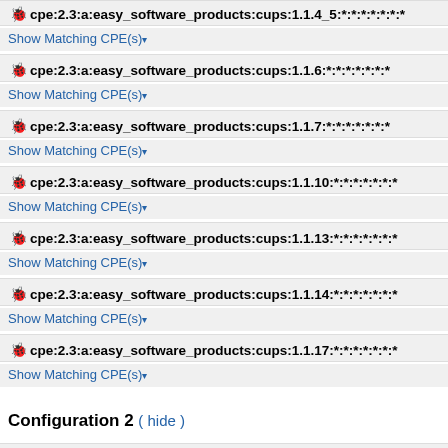cpe:2.3:a:easy_software_products:cups:1.1.4_5:*:*:*:*:*:*:*
Show Matching CPE(s)
cpe:2.3:a:easy_software_products:cups:1.1.6:*:*:*:*:*:*:*
Show Matching CPE(s)
cpe:2.3:a:easy_software_products:cups:1.1.7:*:*:*:*:*:*:*
Show Matching CPE(s)
cpe:2.3:a:easy_software_products:cups:1.1.10:*:*:*:*:*:*:*
Show Matching CPE(s)
cpe:2.3:a:easy_software_products:cups:1.1.13:*:*:*:*:*:*:*
Show Matching CPE(s)
cpe:2.3:a:easy_software_products:cups:1.1.14:*:*:*:*:*:*:*
Show Matching CPE(s)
cpe:2.3:a:easy_software_products:cups:1.1.17:*:*:*:*:*:*:*
Show Matching CPE(s)
Configuration 2 ( hide )